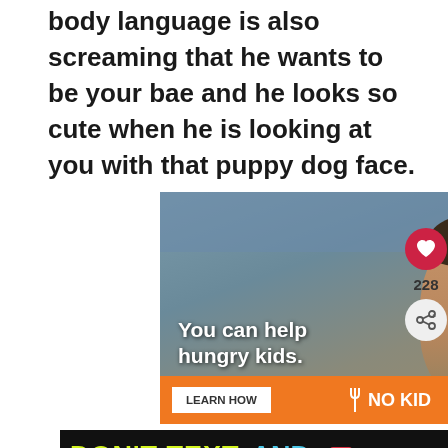body language is also screaming that he wants to be your bae and he looks so cute when he is looking at you with that puppy dog face.
[Figure (photo): Advertisement showing a young child putting hand to mouth with text overlay 'You can help hungry kids.' with a LEARN HOW button and NO KID HUNGRY branding on an orange bar]
[Figure (infographic): DON'T TEXT AND DRIVE style ad bar in black with yellow and cyan text, car emoji, and NHTSA ad badge]